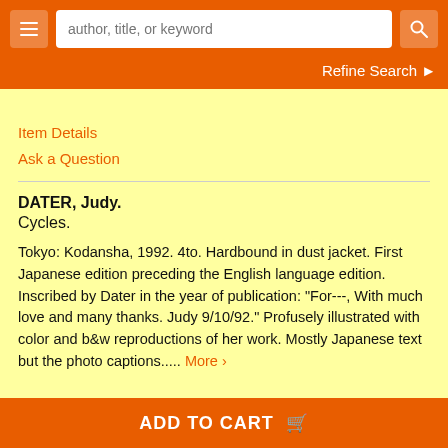author, title, or keyword
Refine Search
Item Details
Ask a Question
DATER, Judy.
Cycles.
Tokyo: Kodansha, 1992. 4to. Hardbound in dust jacket. First Japanese edition preceding the English language edition. Inscribed by Dater in the year of publication: "For---, With much love and many thanks. Judy 9/10/92." Profusely illustrated with color and b&w reproductions of her work. Mostly Japanese text but the photo captions..... More ›
ADD TO CART